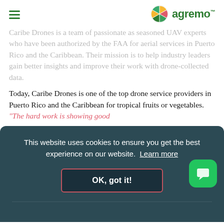agremo
Caribe Drones is a team of passionate as seasoned UAV experts who have been authorized by the FAA for aerial services in Puerto Rico and the Caribbean. Their mission is to help industry leaders gain better insights and improve their work with drone-collected data.
Today, Caribe Drones is one of the top drone service providers in Puerto Rico and the Caribbean for tropical fruits or vegetables. “The hard work is showing good
[Figure (screenshot): Cookie consent banner overlay with dark teal background. Text reads: 'This website uses cookies to ensure you get the best experience on our website. Learn more' with an 'OK, got it!' button and a green chat widget button in the bottom right.]
equipped with an RGB camera with a 20M resolution and